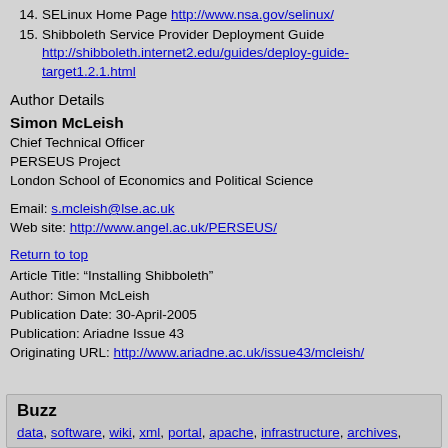14. SELinux Home Page http://www.nsa.gov/selinux/
15. Shibboleth Service Provider Deployment Guide http://shibboleth.internet2.edu/guides/deploy-guide-target1.2.1.html
Author Details
Simon McLeish
Chief Technical Officer
PERSEUS Project
London School of Economics and Political Science
Email: s.mcleish@lse.ac.uk
Web site: http://www.angel.ac.uk/PERSEUS/
Return to top
Article Title: “Installing Shibboleth”
Author: Simon McLeish
Publication Date: 30-April-2005
Publication: Ariadne Issue 43
Originating URL: http://www.ariadne.ac.uk/issue43/mcleish/
Buzz
data, software, wiki, xml, portal, apache, infrastructure, archives,